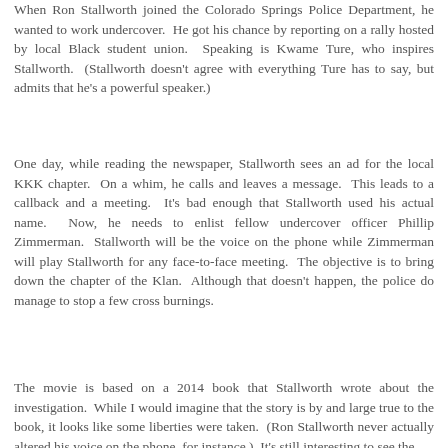When Ron Stallworth joined the Colorado Springs Police Department, he wanted to work undercover. He got his chance by reporting on a rally hosted by local Black student union. Speaking is Kwame Ture, who inspires Stallworth. (Stallworth doesn't agree with everything Ture has to say, but admits that he's a powerful speaker.)
One day, while reading the newspaper, Stallworth sees an ad for the local KKK chapter. On a whim, he calls and leaves a message. This leads to a callback and a meeting. It's bad enough that Stallworth used his actual name. Now, he needs to enlist fellow undercover officer Phillip Zimmerman. Stallworth will be the voice on the phone while Zimmerman will play Stallworth for any face-to-face meeting. The objective is to bring down the chapter of the Klan. Although that doesn't happen, the police do manage to stop a few cross burnings.
The movie is based on a 2014 book that Stallworth wrote about the investigation. While I would imagine that the story is by and large true to the book, it looks like some liberties were taken. (Ron Stallworth never actually altered his voice on the phone, for instance.) It's still interesting to see the